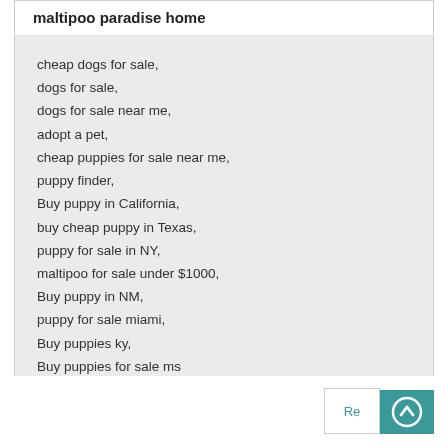maltipoo paradise home
cheap dogs for sale,
dogs for sale,
dogs for sale near me,
adopt a pet,
cheap puppies for sale near me,
puppy finder,
Buy puppy in California,
buy cheap puppy in Texas,
puppy for sale in NY,
maltipoo for sale under $1000,
Buy puppy in NM,
puppy for sale miami,
Buy puppies ky,
Buy puppies for sale ms
https://maltipooparadisehome.com/